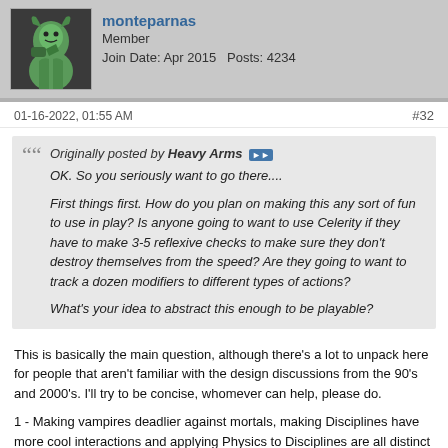monteparnas
Member
Join Date: Apr 2015   Posts: 4234
01-16-2022, 01:55 AM
#32
Originally posted by Heavy Arms
OK. So you seriously want to go there....

First things first. How do you plan on making this any sort of fun to use in play? Is anyone going to want to use Celerity if they have to make 3-5 reflexive checks to make sure they don't destroy themselves from the speed? Are they going to want to track a dozen modifiers to different types of actions?

What's your idea to abstract this enough to be playable?
This is basically the main question, although there's a lot to unpack here for people that aren't familiar with the design discussions from the 90's and 2000's. I'll try to be concise, whomever can help, please do.
1 - Making vampires deadlier against mortals, making Disciplines have more cool interactions and applying Physics to Disciplines are all distinct design goals. No matter how much you see them as related (and they can be), they must be understood as their own, separate things;